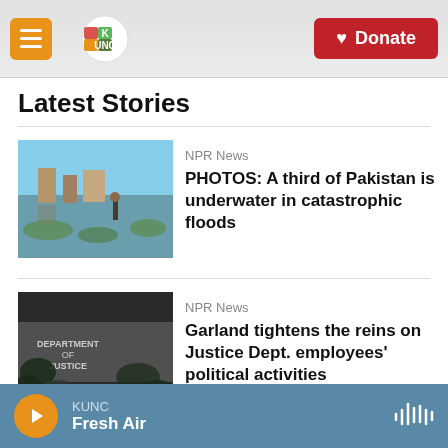KUNC — Donate
Latest Stories
NPR News
PHOTOS: A third of Pakistan is underwater in catastrophic floods
[Figure (photo): Flood scene in Pakistan with ruins partially submerged in water under blue sky]
NPR News
Garland tightens the reins on Justice Dept. employees' political activities
[Figure (photo): Department of Justice stone engraving with leaves in foreground, dark moody photo]
NPR News
KUNC — Fresh Air (audio player)